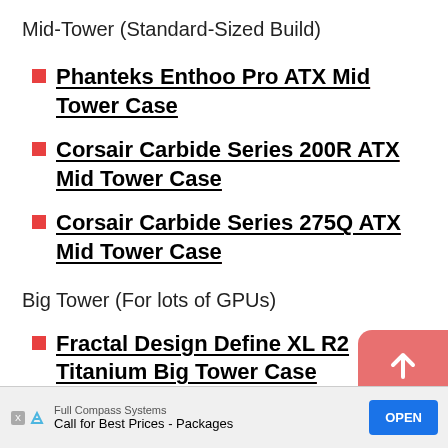Mid-Tower (Standard-Sized Build)
Phanteks Enthoo Pro ATX Mid Tower Case
Corsair Carbide Series 200R ATX Mid Tower Case
Corsair Carbide Series 275Q ATX Mid Tower Case
Big Tower (For lots of GPUs)
Fractal Design Define XL R2 Titanium Big Tower Case
Full Compass Systems
Call for Best Prices - Packages
OPEN